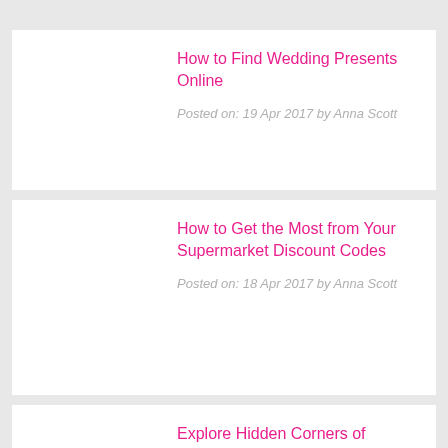How to Find Wedding Presents Online
Posted on: 19 Apr 2017 by Anna Scott
How to Get the Most from Your Supermarket Discount Codes
Posted on: 18 Apr 2017 by Anna Scott
Explore Hidden Corners of England this Spring